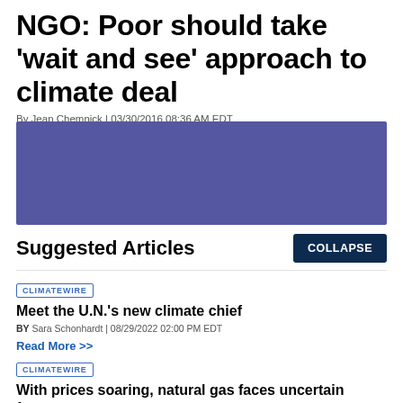NGO: Poor should take ‘wait and see’ approach to climate deal
By Jean Chemnick | 03/30/2016 08:36 AM EDT
[Figure (other): Blue/purple advertisement banner placeholder]
Suggested Articles
COLLAPSE
CLIMATEWIRE
Meet the U.N.’s new climate chief
BY Sara Schonhardt | 08/29/2022 02:00 PM EDT
Read More >>
CLIMATEWIRE
With prices soaring, natural gas faces uncertain future